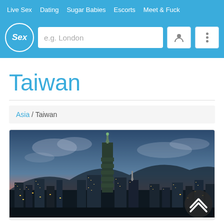Live Sex   Dating   Sugar Babies   Escorts   Meet & Fuck
[Figure (screenshot): Website header with Sex logo circle, search input placeholder 'e.g. London', user icon button, and menu icon button on blue background]
Taiwan
Asia / Taiwan
[Figure (photo): Taipei city skyline at dusk showing Taipei 101 tower prominently, with city lights, mountains in background, and cloudy sky with pink/blue hues. A scroll-up button is overlaid at bottom right.]